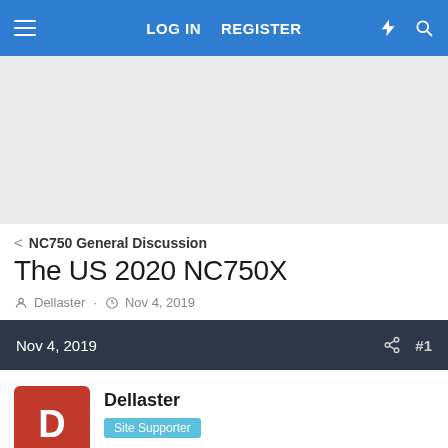LOG IN   REGISTER
[Figure (other): Advertisement banner area (gray placeholder)]
< NC750 General Discussion
The US 2020 NC750X
Dellaster · Nov 4, 2019
Nov 4, 2019  #1
Dellaster
Site Supporter